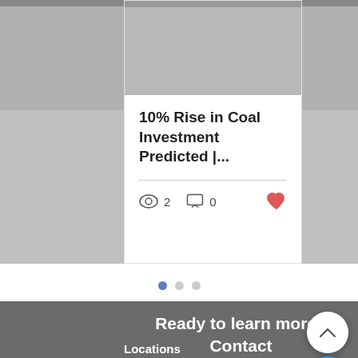10% Rise in Coal Investment Predicted |...
2  0
Ready to learn more? Contact ARC today!
Locations
ARC Energy Services, Inc.
1876 Midland Road
Rock Hill, SC 29730
803.327.6009
3923 Mickey Gilly Blvd.
Suites B&C